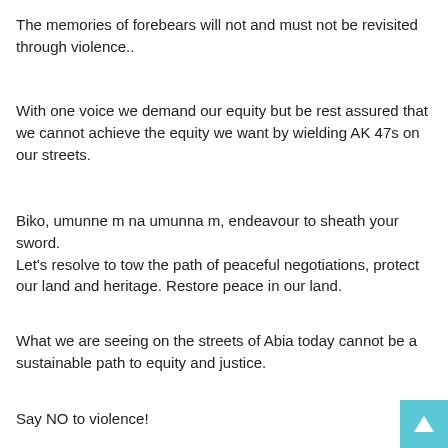The memories of forebears will not and must not be revisited through violence..
With one voice we demand our equity but be rest assured that we cannot achieve the equity we want by wielding AK 47s on our streets.
Biko, umunne m na umunna m, endeavour to sheath your sword.
Let's resolve to tow the path of peaceful negotiations, protect our land and heritage. Restore peace in our land.
What we are seeing on the streets of Abia today cannot be a sustainable path to equity and justice.
Say NO to violence!